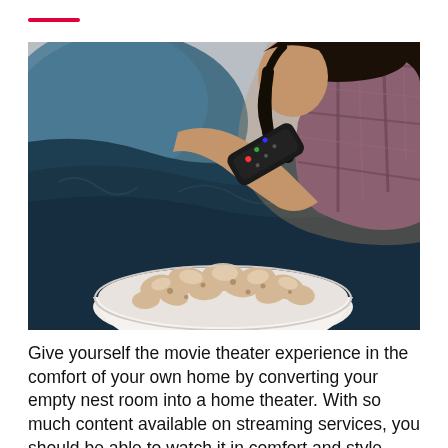[Figure (photo): A person sitting on a dark blue couch holding a TV remote control, with a large white bowl of popcorn in the foreground. The person is wearing a plaid shirt and appears to be watching TV. The setting looks cozy and relaxed.]
Give yourself the movie theater experience in the comfort of your own home by converting your empty nest room into a home theater. With so much content available on streaming services, you should be able to watch it in comfort and style. Make sure to include